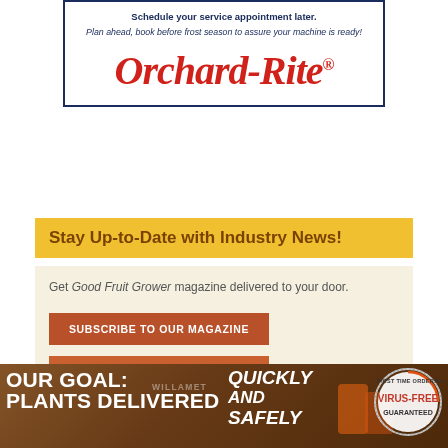[Figure (logo): Orchard-Rite advertisement box with text 'Schedule your service appointment later. Plan ahead, book before frost season to assure your machine is ready!' and red italic Orchard-Rite logo]
Stay Up-to-Date with Industry News!
Get Good Fruit Grower magazine delivered to your door.
SUBSCRIBE TO OUR MAGAZINE
SIGN UP FOR OUR FREE E-FLASH NEWSLETTER
[Figure (photo): Bottom banner showing industrial/warehouse scene with text 'OUR GOAL: PLANTS DELIVERED' on the left, 'QUICKLY AND SAFELY' in italic on the right, and a 'Virus-Free' circular badge on the far right. Background shows orange/brown warehouse tones.]